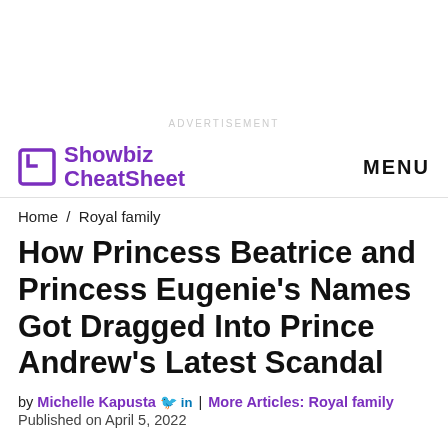ADVERTISEMENT
Showbiz CheatSheet | MENU
Home / Royal family
How Princess Beatrice and Princess Eugenie’s Names Got Dragged Into Prince Andrew’s Latest Scandal
by Michelle Kapusta [Twitter] in | More Articles: Royal family
Published on April 5, 2022